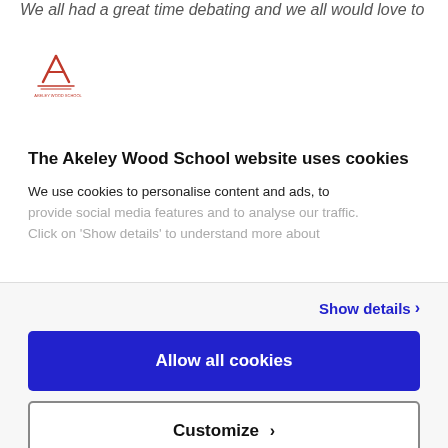We all had a great time debating and we all would love to
[Figure (logo): Akeley Wood School logo: stylized red/maroon letter A with lines beneath, small school name text below]
The Akeley Wood School website uses cookies
We use cookies to personalise content and ads, to provide social media features and to analyse our traffic. Click on 'Show details' to understand more about
Show details ›
Allow all cookies
Customize ›
Powered by Cookiebot by Usercentrics